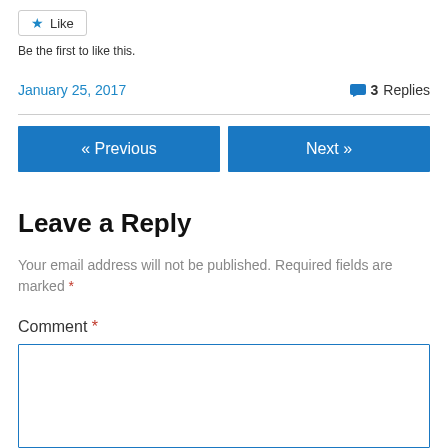[Figure (other): Like button with star icon]
Be the first to like this.
January 25, 2017    3 Replies
« Previous
Next »
Leave a Reply
Your email address will not be published. Required fields are marked *
Comment *